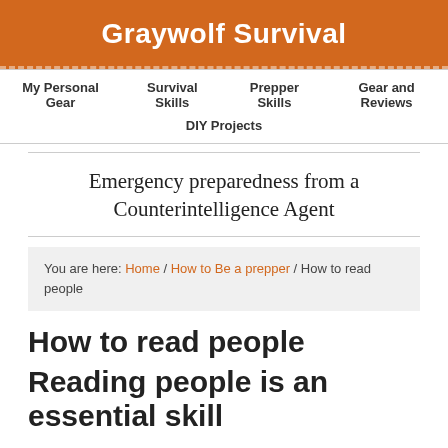Graywolf Survival
My Personal Gear | Survival Skills | Prepper Skills | Gear and Reviews | DIY Projects
Emergency preparedness from a Counterintelligence Agent
You are here: Home / How to Be a prepper / How to read people
How to read people
Reading people is an essential skill...